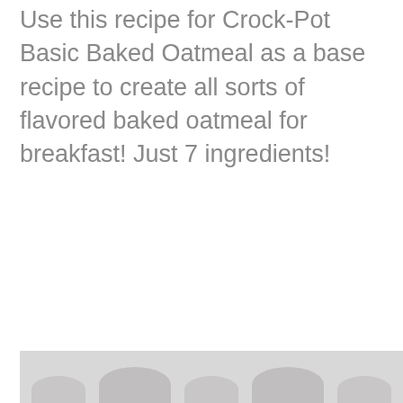Use this recipe for Crock-Pot Basic Baked Oatmeal as a base recipe to create all sorts of flavored baked oatmeal for breakfast! Just 7 ingredients!
[Figure (photo): Partial photo of baked oatmeal dish, cropped at bottom of page, showing a light-colored background with rounded shapes suggesting a bowl or dish]